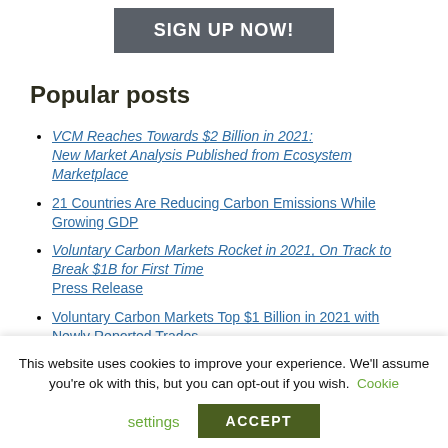SIGN UP NOW!
Popular posts
VCM Reaches Towards $2 Billion in 2021: New Market Analysis Published from Ecosystem Marketplace
21 Countries Are Reducing Carbon Emissions While Growing GDP
Voluntary Carbon Markets Rocket in 2021, On Track to Break $1B for First Time
Press Release
Voluntary Carbon Markets Top $1 Billion in 2021 with Newly Reported Trades, a Special Ecosystem Marketplace COP26 Bulletin
This website uses cookies to improve your experience. We'll assume you're ok with this, but you can opt-out if you wish. Cookie settings ACCEPT